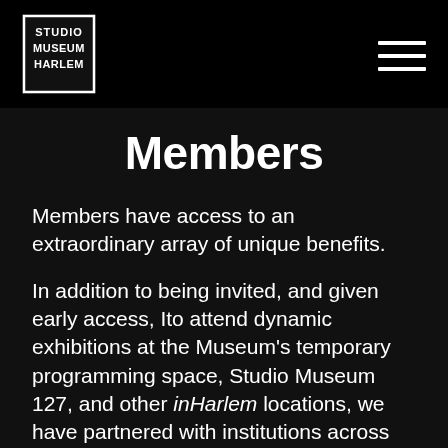Studio Museum Harlem
Members
Members have access to an extraordinary array of unique benefits.
In addition to being invited, and given early access, Ito attend dynamic exhibitions at the Museum's temporary programming space, Studio Museum 127, and other inHarlem locations, we have partnered with institutions across the city to provide our Members with private events and programs that celebrate art inspired, influenced, and created by…